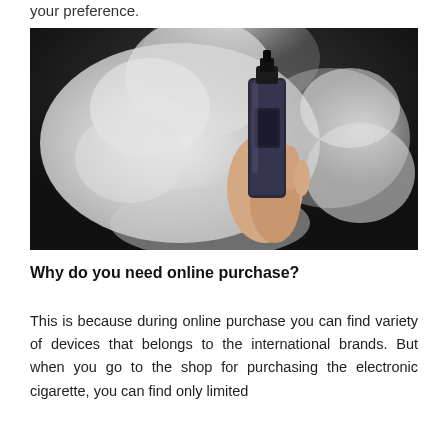your preference.
[Figure (photo): A person holding a vaping device (e-cigarette mod) with large clouds of white vapor surrounding their hand against a dark background.]
Why do you need online purchase?
This is because during online purchase you can find variety of devices that belongs to the international brands. But when you go to the shop for purchasing the electronic cigarette, you can find only limited